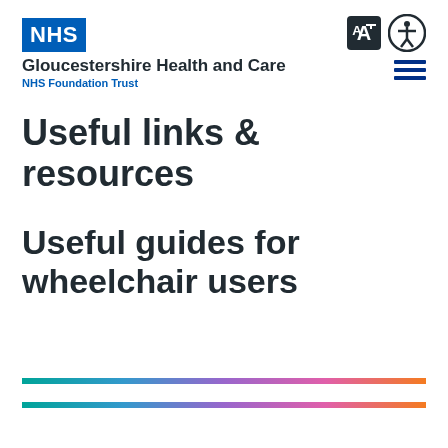NHS Gloucestershire Health and Care NHS Foundation Trust
Useful links & resources
Useful guides for wheelchair users
[Figure (illustration): Two decorative rainbow gradient horizontal bars at the bottom of the page, each spanning the page width, with gradient from green to blue to pink to orange.]